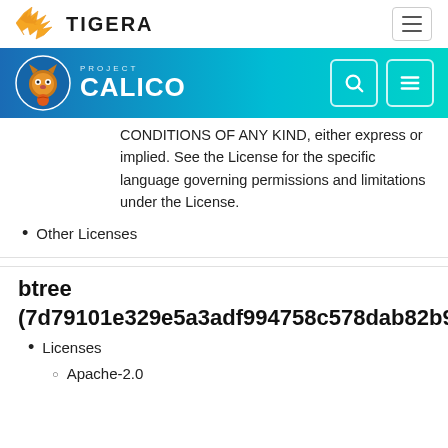TIGERA
[Figure (logo): Project Calico logo with cat mascot and navigation bar with search and menu icons]
CONDITIONS OF ANY KIND, either express or implied. See the License for the specific language governing permissions and limitations under the License.
Other Licenses
btree (7d79101e329e5a3adf994758c578dab82b90c0...
Licenses
Apache-2.0